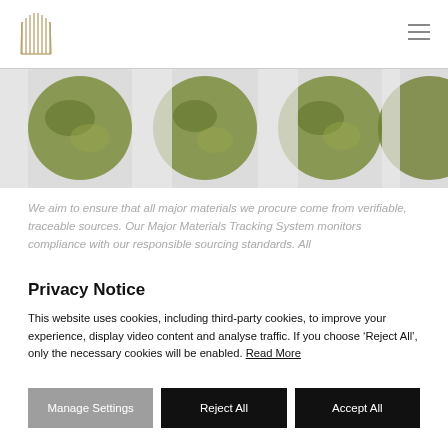Logo and navigation header
[Figure (photo): A horizontal strip showing multiple circular green/olive colored gemstone or mineral specimens arranged in a row on a light background.]
We aim to ensure that all major materials we procure come from verifiable, traceable sources. Our Major Materials Tracking System monitors compliance with our responsible sourcing standards. All
Privacy Notice
This website uses cookies, including third-party cookies, to improve your experience, display video content and analyse traffic. If you choose ‘Reject All’, only the necessary cookies will be enabled. Read More